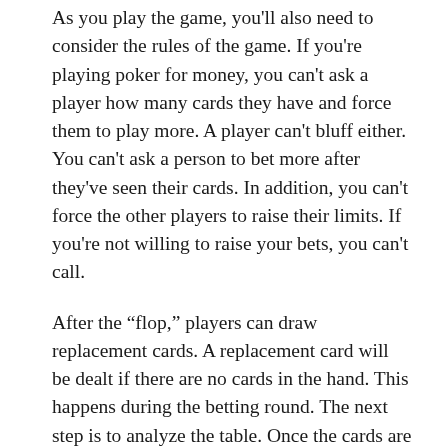As you play the game, you'll also need to consider the rules of the game. If you're playing poker for money, you can't ask a player how many cards they have and force them to play more. A player can't bluff either. You can't ask a person to bet more after they've seen their cards. In addition, you can't force the other players to raise their limits. If you're not willing to raise your bets, you can't call.
After the “flop,” players can draw replacement cards. A replacement card will be dealt if there are no cards in the hand. This happens during the betting round. The next step is to analyze the table. Once the cards are dealt, you need to make a decision about how to play them. A player with a higher-valued hand will be a good candidate for a higher-valued one. If you’re not a fan of a particular hand, you can always fold and still lose.